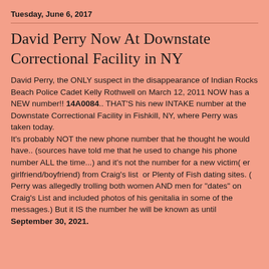Tuesday, June 6, 2017
David Perry Now At Downstate Correctional Facility in NY
David Perry, the ONLY suspect in the disappearance of Indian Rocks Beach Police Cadet Kelly Rothwell on March 12, 2011 NOW has a NEW number!! 14A0084.. THAT'S his new INTAKE number at the Downstate Correctional Facility in Fishkill, NY, where Perry was taken today.
It's probably NOT the new phone number that he thought he would have.. (sources have told me that he used to change his phone number ALL the time...) and it's not the number for a new victim( er girlfriend/boyfriend) from Craig's list  or Plenty of Fish dating sites. ( Perry was allegedly trolling both women AND men for "dates" on Craig's List and included photos of his genitalia in some of the messages.) But it IS the number he will be known as until September 30, 2021.